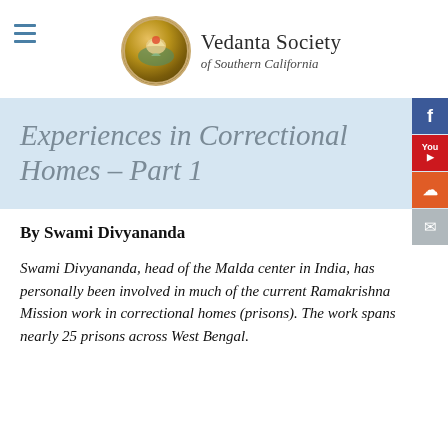Vedanta Society of Southern California
Experiences in Correctional Homes – Part 1
By Swami Divyananda
Swami Divyananda, head of the Malda center in India, has personally been involved in much of the current Ramakrishna Mission work in correctional homes (prisons). The work spans nearly 25 prisons across West Bengal.